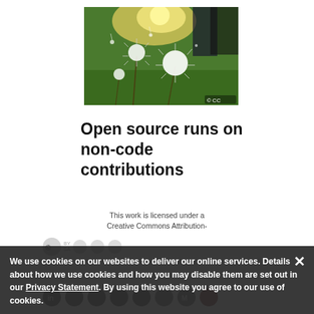[Figure (photo): Close-up photo of dandelion flowers in a field with sunlight, person's legs/boots visible in upper portion, CC license watermark in bottom-right corner]
Open source runs on non-code contributions
This work is licensed under a Creative Commons Attribution-
We use cookies on our websites to deliver our online services. Details about how we use cookies and how you may disable them are set out in our Privacy Statement. By using this website you agree to our use of cookies.